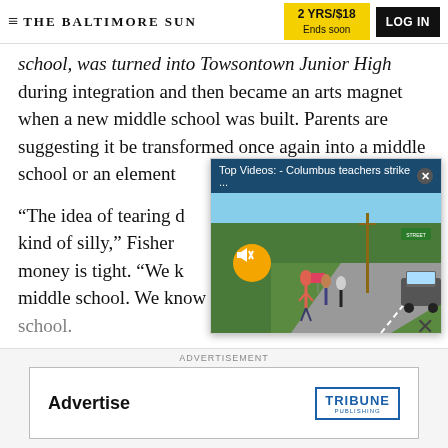THE BALTIMORE SUN | 2 YRS/$18 Ends soon | LOG IN
school, was turned into Towsontown Junior High during integration and then became an arts magnet when a new middle school was built. Parents are suggesting it be transformed once again into a middle school or an element...
[Figure (screenshot): Video overlay popup with title bar 'Top Videos: - Columbus teachers strike ...' with close button, showing thumbnail photo of people marching along a sidewalk/road with signs, with mute button overlay]
"The idea of tearing d... kind of silly," Fisher ... money is tight. "We k... middle school. We know it is coming to the high school.
ADVERTISEMENT
[Figure (other): Advertisement box with 'Advertise' text and Tribune Publishing logo]